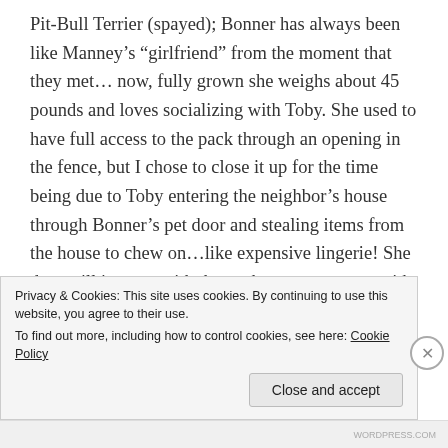Pit-Bull Terrier (spayed); Bonner has always been like Manney’s “girlfriend” from the moment that they met… now, fully grown she weighs about 45 pounds and loves socializing with Toby. She used to have full access to the pack through an opening in the fence, but I chose to close it up for the time being due to Toby entering the neighbor’s house through Bonner’s pet door and stealing items from the house to chew on…like expensive lingerie! She does still interact with the pack, or one-on-one with Toby, but only under supervision until he matures out of the puppy behavior.
Privacy & Cookies: This site uses cookies. By continuing to use this website, you agree to their use.
To find out more, including how to control cookies, see here: Cookie Policy
Close and accept